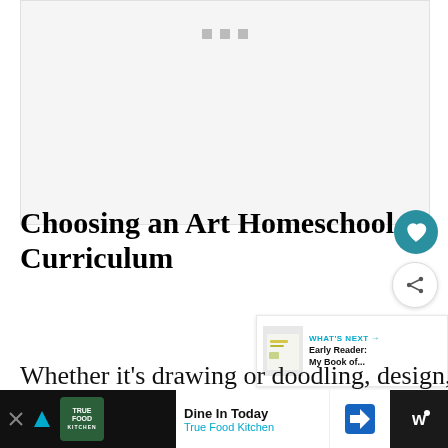[Figure (photo): Placeholder image area with three gray squares at top center, light gray background]
Choosing an Art Homeschool Curriculum
[Figure (illustration): Teal circular heart/save button icon]
[Figure (illustration): White circular share/add button icon]
[Figure (illustration): What's Next panel: Early Reader: My Book of... with thumbnail]
Whether it's drawing or doodling, design, painting, or digital photography, m...e my
[Figure (illustration): Advertisement bar: True Food Kitchen - Dine In Today]